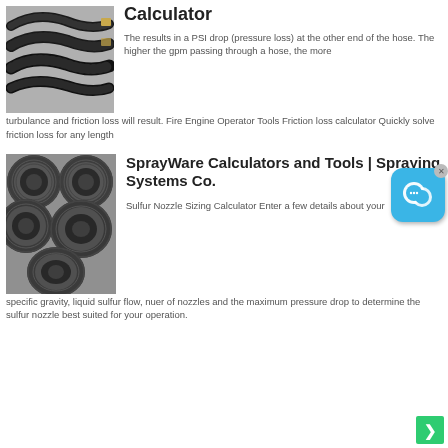[Figure (photo): Close-up photo of black rubber hydraulic hoses curving on a gray surface]
Calculator
The results in a PSI drop (pressure loss) at the other end of the hose. The higher the gpm passing through a hose, the more turbulance and friction loss will result. Fire Engine Operator Tools Friction loss calculator Quickly solve friction loss for any length
[Figure (photo): Stack of black corrugated flexible hoses/pipes viewed from one end on a gray background]
SprayWare Calculators and Tools | Spraying Systems Co.
Sulfur Nozzle Sizing Calculator Enter a few details about your specific gravity, liquid sulfur flow, nuer of nozzles and the maximum pressure drop to determine the sulfur nozzle best suited for your operation.